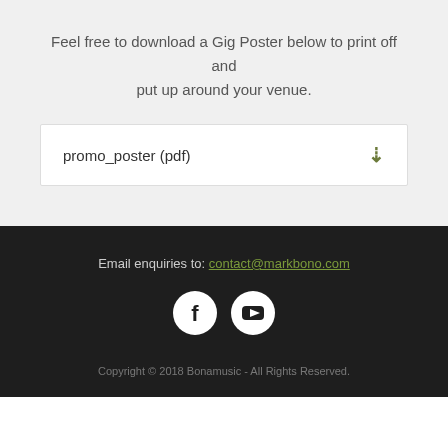Feel free to download a Gig Poster below to print off and put up around your venue.
promo_poster (pdf)
Email enquiries to: contact@markbono.com
[Figure (other): Facebook and YouTube social media icons (circular, white on dark background)]
Copyright © 2018 Bonamusic - All Rights Reserved.